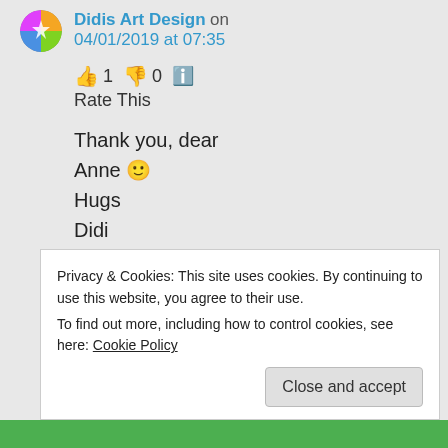Didis Art Design on 04/01/2019 at 07:35
👍 1 👎 0 ℹ️ Rate This
Thank you, dear
Anne 🙂
Hugs
Didi
★ Liked by 1 person
Log in to Reply
Privacy & Cookies: This site uses cookies. By continuing to use this website, you agree to their use.
To find out more, including how to control cookies, see here: Cookie Policy
Close and accept